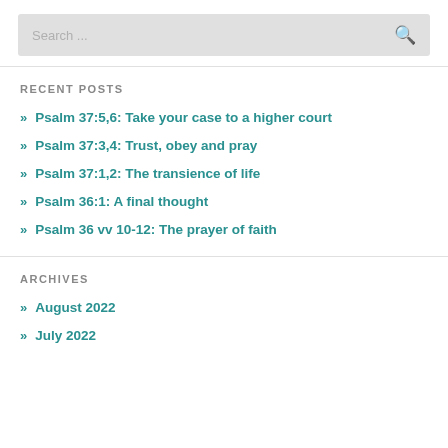[Figure (other): Search input box with placeholder text 'Search ...' and a search icon]
RECENT POSTS
» Psalm 37:5,6: Take your case to a higher court
» Psalm 37:3,4: Trust, obey and pray
» Psalm 37:1,2: The transience of life
» Psalm 36:1: A final thought
» Psalm 36 vv 10-12: The prayer of faith
ARCHIVES
» August 2022
» July 2022